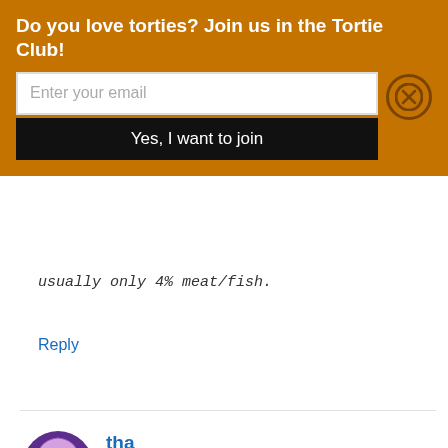Do you love torties? Join us in the Tortie Club!
Enter your email
Yes, I want to join
usually only 4% meat/fish.
Reply
tha
January 4, 2021 at 7:49 pm
Why don’t you suggest a good food instead of putting down every food they suggested on these post. Your post doesn’t help anyone that came